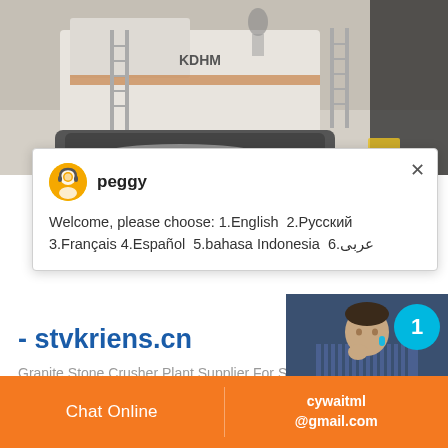[Figure (photo): Industrial stone crusher machine / excavator on a quarry site, grayscale/sepia photo with machinery and ladders visible]
peggy
Welcome, please choose: 1.English  2.Русский 3.Français 4.Español  5.bahasa Indonesia  6.عربى
- stvkriens.cn
Granite Stone Crusher Plant Supplier For S... Screen Spare Parts. ... Low noise Liner vib... screen/silica sand screening machine for sa...
1
Click to chat
Enquiry
Chat Online    cywaitml @gmail.com